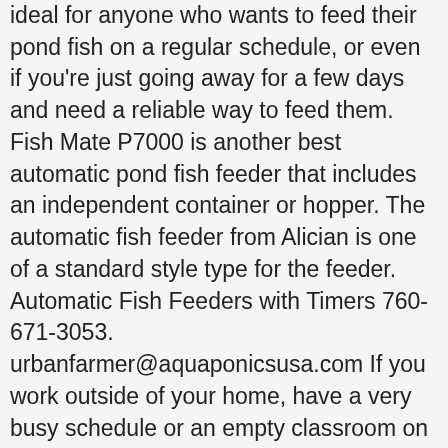ideal for anyone who wants to feed their pond fish on a regular schedule, or even if you're just going away for a few days and need a reliable way to feed them. Fish Mate P7000 is another best automatic pond fish feeder that includes an independent container or hopper. The automatic fish feeder from Alician is one of a standard style type for the feeder. Automatic Fish Feeders with Timers 760-671-3053. urbanfarmer@aquaponicsusa.com If you work outside of your home, have a very busy schedule or an empty classroom on weekends and holidays, you can still feed your fish a pre-set amount of food up to three times a day. It's ideal for both large and small ponds because you can use the LCD control panel to set how often and how much you'd like to feed ... Current Price $19.98 $ 19. It doesn't matter whether you need your fish fed in a small tank, a large reef tank or your pond, there is an automatic fish feeder to suit your needs. Automatic fish feeders are available and sold in many local fish or pet stores. This is compatible with the outdoor ponds and runs on 4 AA-size alkaline batteries, which run for a few months. It came with adequate instructions to suit my